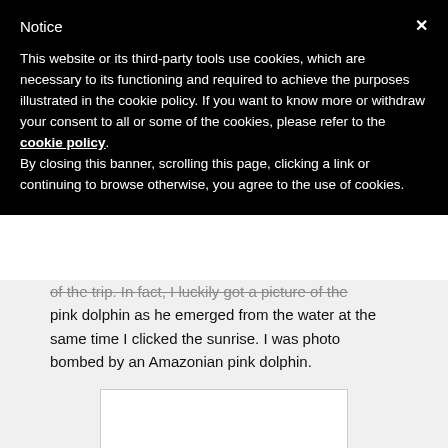Notice
This website or its third-party tools use cookies, which are necessary to its functioning and required to achieve the purposes illustrated in the cookie policy. If you want to know more or withdraw your consent to all or some of the cookies, please refer to the cookie policy.
By closing this banner, scrolling this page, clicking a link or continuing to browse otherwise, you agree to the use of cookies.
of the trip. In fact, I luckily got a picture of the pink dolphin as he emerged from the water at the same time I clicked the sunrise. I was photo bombed by an Amazonian pink dolphin.
[Figure (photo): White/light colored rectangle placeholder for an image]